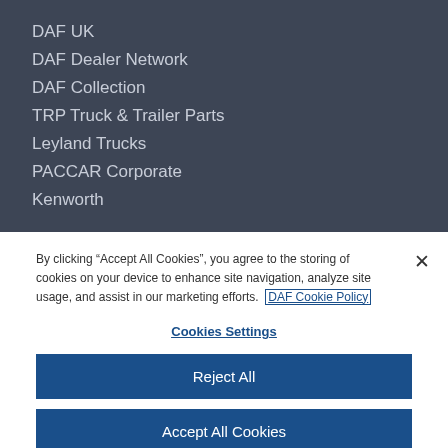DAF UK
DAF Dealer Network
DAF Collection
TRP Truck & Trailer Parts
Leyland Trucks
PACCAR Corporate
Kenworth
By clicking “Accept All Cookies”, you agree to the storing of cookies on your device to enhance site navigation, analyze site usage, and assist in our marketing efforts. DAF Cookie Policy
Cookies Settings
Reject All
Accept All Cookies